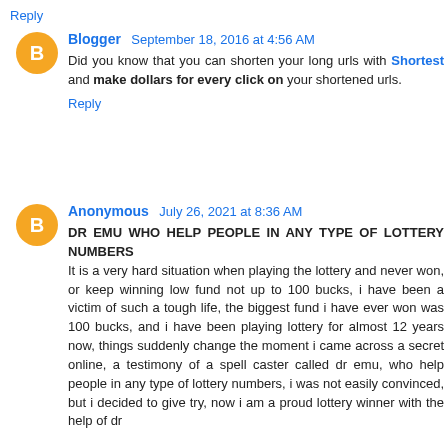Reply
Blogger  September 18, 2016 at 4:56 AM
Did you know that you can shorten your long urls with Shortest and make dollars for every click on your shortened urls.
Reply
Anonymous  July 26, 2021 at 8:36 AM
DR EMU WHO HELP PEOPLE IN ANY TYPE OF LOTTERY NUMBERS
It is a very hard situation when playing the lottery and never won, or keep winning low fund not up to 100 bucks, i have been a victim of such a tough life, the biggest fund i have ever won was 100 bucks, and i have been playing lottery for almost 12 years now, things suddenly change the moment i came across a secret online, a testimony of a spell caster called dr emu, who help people in any type of lottery numbers, i was not easily convinced, but i decided to give try, now i am a proud lottery winner with the help of dr